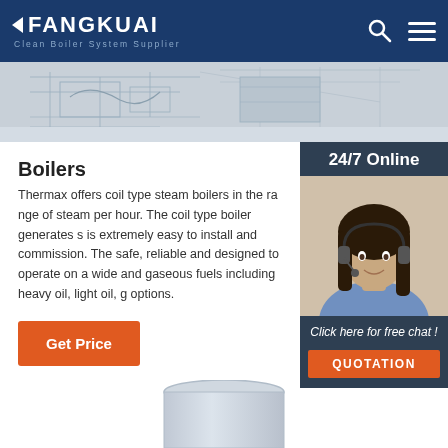[Figure (logo): Fangkuai logo with arrow icon and tagline 'Clean Boiler System Supplier' on dark blue header]
[Figure (photo): Blueprint/technical drawing banner image at top]
[Figure (photo): 24/7 Online sidebar with customer service woman wearing headset, with 'Click here for free chat!' text and QUOTATION button]
Boilers
Thermax offers coil type steam boilers in the range of steam per hour. The coil type boiler generates s is extremely easy to install and commission. The safe, reliable and designed to operate on a wide and gaseous fuels including heavy oil, light oil, g options.
[Figure (other): Get Price orange button]
[Figure (other): TOP scroll-to-top button with orange dots and text]
[Figure (photo): Partial product image at bottom of page]